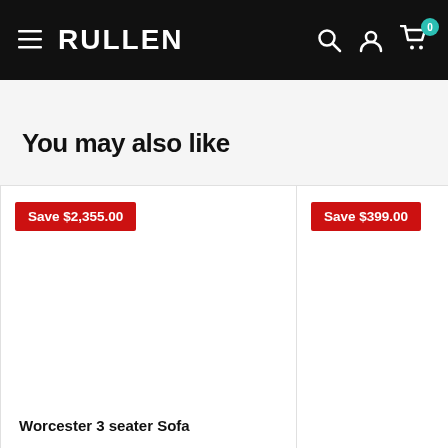RULLEN
You may also like
Save $2,355.00
Worcester 3 seater Sofa
Save $399.00